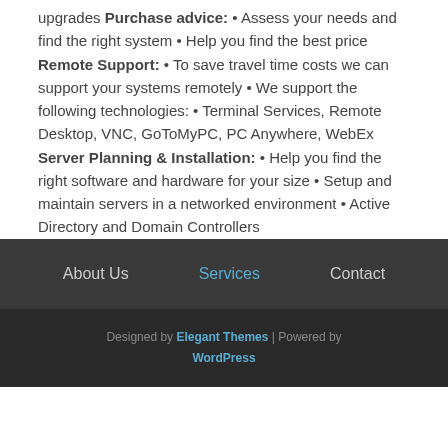upgrades Purchase advice: • Assess your needs and find the right system • Help you find the best price Remote Support: • To save travel time costs we can support your systems remotely • We support the following technologies: • Terminal Services, Remote Desktop, VNC, GoToMyPC, PC Anywhere, WebEx Server Planning & Installation: • Help you find the right software and hardware for your size • Setup and maintain servers in a networked environment • Active Directory and Domain Controllers
About Us   Services   Contact
Designed by Elegant Themes | Powered by WordPress